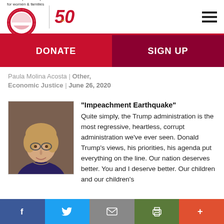[Figure (logo): National Partnership for Women & Families logo with 50th anniversary mark]
DONATE
SIGN UP
Paula Molina Acosta | Other, Economic Justice | June 26, 2020
[Figure (photo): Headshot of a woman with glasses and light brown hair]
"Impeachment Earthquake" Quite simply, the Trump administration is the most regressive, heartless, corrupt administration we've ever seen. Donald Trump's views, his priorities, his agenda put everything on the line. Our nation deserves better. You and I deserve better. Our children and our children's